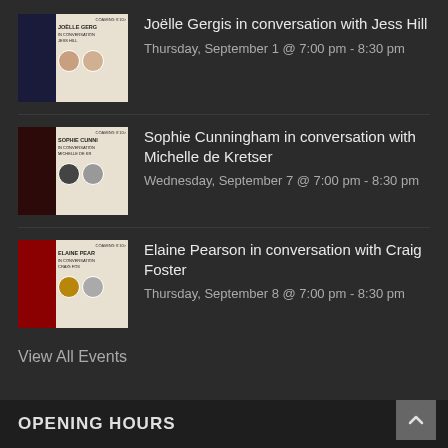Joëlle Gergis in conversation with Jess Hill — Thursday, September 1 @ 7:00 pm - 8:30 pm
Sophie Cunningham in conversation with Michelle de Kretser — Wednesday, September 7 @ 7:00 pm - 8:30 pm
Elaine Pearson in conversation with Craig Foster — Thursday, September 8 @ 7:00 pm - 8:30 pm
View All Events
OPENING HOURS